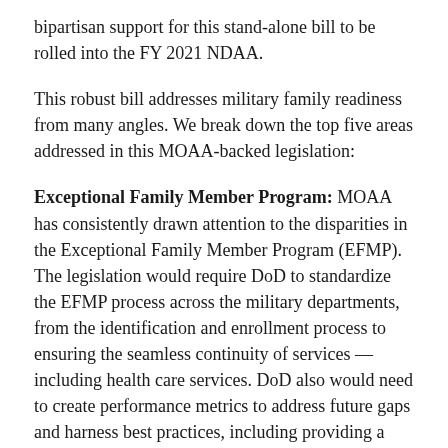bipartisan support for this stand-alone bill to be rolled into the FY 2021 NDAA.
This robust bill addresses military family readiness from many angles. We break down the top five areas addressed in this MOAA-backed legislation:
Exceptional Family Member Program: MOAA has consistently drawn attention to the disparities in the Exceptional Family Member Program (EFMP). The legislation would require DoD to standardize the EFMP process across the military departments, from the identification and enrollment process to ensuring the seamless continuity of services — including health care services. DoD also would need to create performance metrics to address future gaps and harness best practices, including providing a dedicated EFMP attorney at certain installations.
MOAA also heard from military families about obstacles in